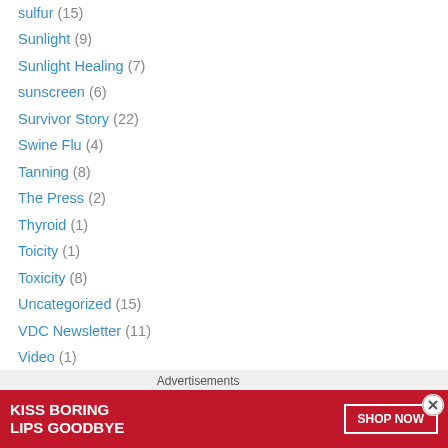sulfur (15)
Sunlight (9)
Sunlight Healing (7)
sunscreen (6)
Survivor Story (22)
Swine Flu (4)
Tanning (8)
The Press (2)
Thyroid (1)
Toicity (1)
Toxicity (8)
Uncategorized (15)
VDC Newsletter (11)
Video (1)
Vitamin A (1)
Vitamin B (1)
Vitamin C (4)
[Figure (photo): Advertisement banner: red background with 'KISS BORING LIPS GOODBYE' text and 'SHOP NOW' button]
Advertisements